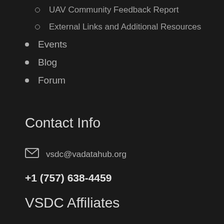UAV Community Feedback Report
External Links and Additional Resources
Events
Blog
Forum
Contact Info
vsdc@vadatahub.org
+1 (757) 638-4459
VSDC Affiliates